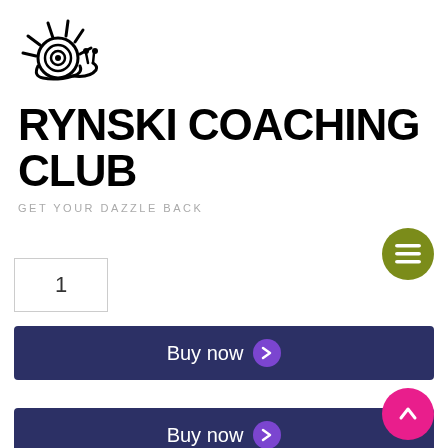[Figure (logo): Rynski Coaching Club logo: a stylized snail/sun illustration in black line art]
RYNSKI COACHING CLUB
GET YOUR DAZZLE BACK
1
Buy now
Buy now